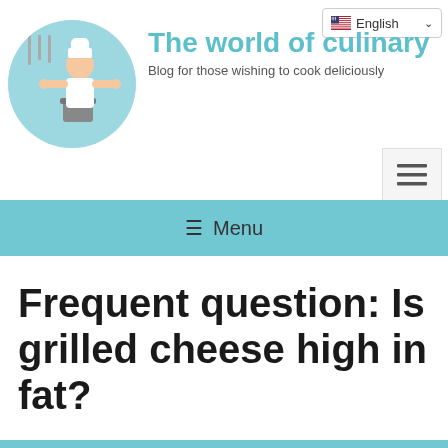[Figure (screenshot): Language selector dropdown showing English with US flag icon and chevron]
[Figure (logo): Circular logo with light blue background showing a cartoon female chef in white uniform cooking in a kitchen]
The world of culinary
Blog for those wishing to cook deliciously
[Figure (other): Hamburger menu button (three horizontal lines)]
≡ Menu
Frequent question: Is grilled cheese high in fat?